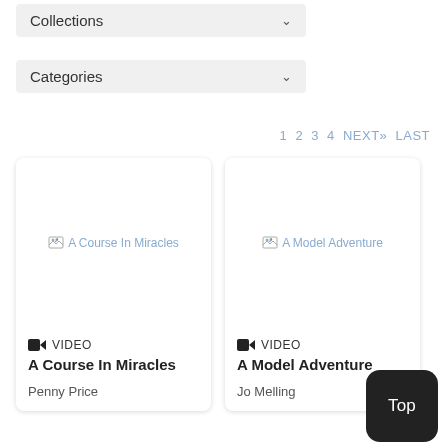Collections
Categories
1 2 3 4 NEXT» LAST
[Figure (screenshot): Card showing broken image placeholder for 'A Course In Miracles' with VIDEO label and author Penny Price]
[Figure (screenshot): Card showing broken image placeholder for 'A Model Adventure' with VIDEO label and author Jo Melling]
Top